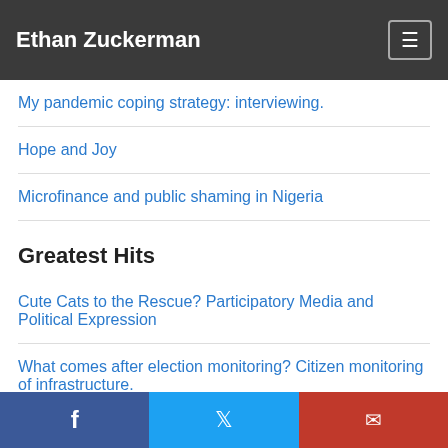Ethan Zuckerman
My pandemic coping strategy: interviewing.
Hope and Joy
Microfinance and public shaming in Nigeria
Greatest Hits
Cute Cats to the Rescue? Participatory Media and Political Expression
What comes after election monitoring? Citizen monitoring of infrastructure.
f  🐦  ✉